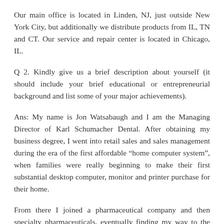Our main office is located in Linden, NJ, just outside New York City, but additionally we distribute products from IL, TN and CT. Our service and repair center is located in Chicago, IL.
Q 2. Kindly give us a brief description about yourself (it should include your brief educational or entrepreneurial background and list some of your major achievements).
Ans: My name is Jon Watsabaugh and I am the Managing Director of Karl Schumacher Dental. After obtaining my business degree, I went into retail sales and sales management during the era of the first affordable “home computer system”, when families were really beginning to make their first substantial desktop computer, monitor and printer purchase for their home.
From there I joined a pharmaceutical company and then specialty pharmaceuticals, eventually finding my way to the earliest days of Align Technology and Invisalign in 2003. From there, I knew I was destined to help change the dental